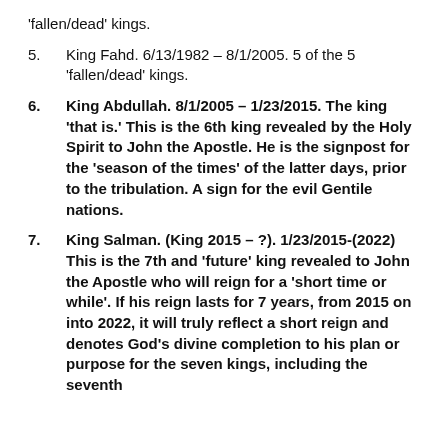'fallen/dead' kings.
5. King Fahd. 6/13/1982 – 8/1/2005. 5 of the 5 'fallen/dead' kings.
6. King Abdullah. 8/1/2005 – 1/23/2015. The king 'that is.' This is the 6th king revealed by the Holy Spirit to John the Apostle. He is the signpost for the 'season of the times' of the latter days, prior to the tribulation. A sign for the evil Gentile nations.
7. King Salman. (King 2015 – ?). 1/23/2015-(2022) This is the 7th and 'future' king revealed to John the Apostle who will reign for a 'short time or while'. If his reign lasts for 7 years, from 2015 on into 2022, it will truly reflect a short reign and denotes God's divine completion to his plan or purpose for the seven kings, including the seventh